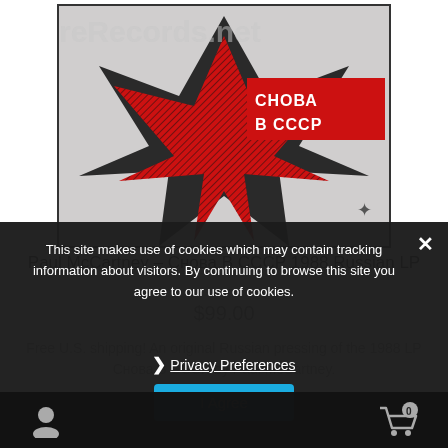[Figure (photo): Album cover of Paul McCartney – Снова В СССР 1988 Russian LP showing geometric red and black star shapes with Cyrillic text СНОВА В СССР on a red banner, with a watermark 'reRecords.net' across the top]
Paul McCartney – Снова В СССР 1988 Russian LP
$99.00
Free U.S. shipping! An original Russian pressing of the 1988 LP Снова В СССР by Paul McCartney.
This site makes use of cookies which may contain tracking information about visitors. By continuing to browse this site you agree to our use of cookies.
❯ Privacy Preferences
I Agree